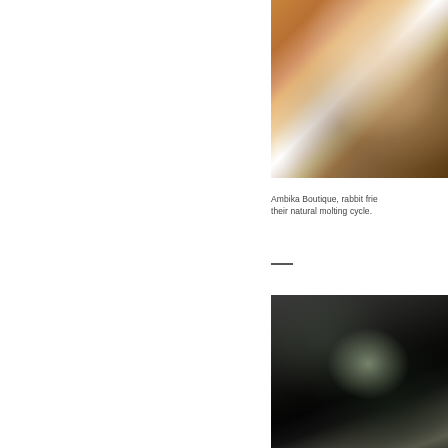[Figure (photo): Close-up photo of a person holding or wearing a white crocheted/knitted textile item, warm brown tones, skin visible]
Ambika Boutique, rabbit frie... their natural molting cycle.
[Figure (photo): Dark, blurry photo with glowing light in center, dark background with teal and dark tones, bokeh style]